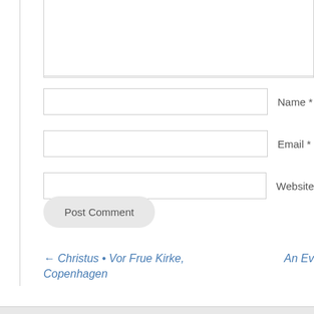Name *
Email *
Website
Post Comment
← Christus • Vor Frue Kirke, Copenhagen
An Ev…